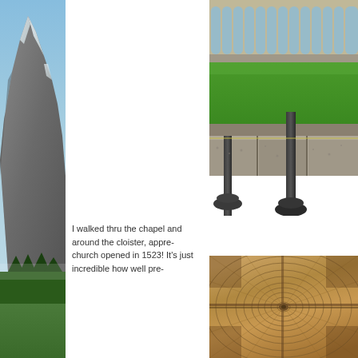[Figure (photo): Tall alpine mountain with snow-capped peak, rocky slopes, green meadow and forest at base, blue sky — a vertical strip on the left side of the page]
[Figure (photo): Cloister courtyard with green lawn, stone arched colonnade in background, close-up of dark iron column bases and ornamental metalwork in foreground]
I walked thru the chapel and around the cloister, appre- church opened in 1523! It's just incredible how well pre-
[Figure (photo): Close-up of wooden ceiling with circular tree-ring pattern, showing radial wood grain structure]